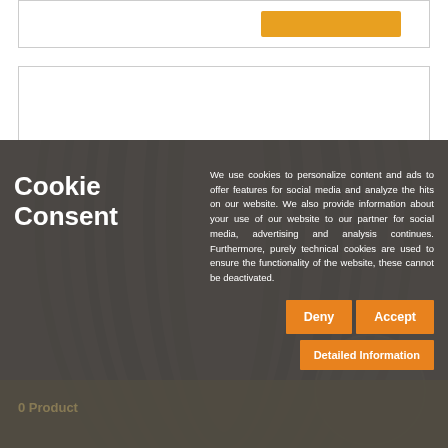[Figure (screenshot): Partial webpage visible behind cookie consent overlay, showing a white card with an orange button at the top, and a second white card below it, with a tire tread image in the background.]
Cookie Consent
We use cookies to personalize content and ads to offer features for social media and analyze the hits on our website. We also provide information about your use of our website to our partner for social media, advertising and analysis continues. Furthermore, purely technical cookies are used to ensure the functionality of the website, these cannot be deactivated.
Deny
Accept
Detailed Information
0 Product